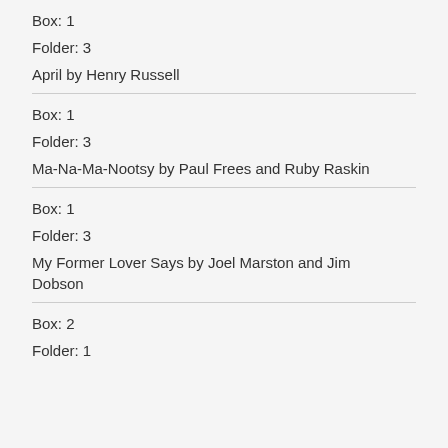Box: 1
Folder: 3
April by Henry Russell
Box: 1
Folder: 3
Ma-Na-Ma-Nootsy by Paul Frees and Ruby Raskin
Box: 1
Folder: 3
My Former Lover Says by Joel Marston and Jim Dobson
Box: 2
Folder: 1